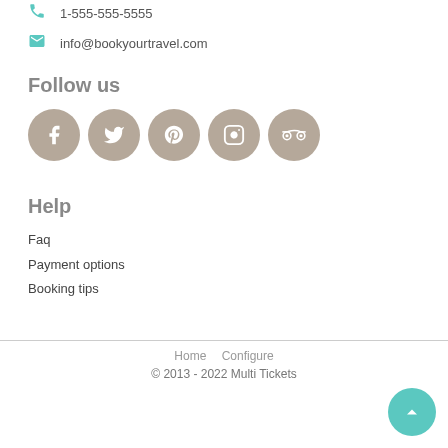1-555-555-5555
info@bookyourtravel.com
Follow us
[Figure (illustration): Five circular social media icons (Facebook, Twitter, Pinterest, Instagram, TripAdvisor) in taupe/brown color]
Help
Faq
Payment options
Booking tips
Home   Configure
© 2013 - 2022 Multi Tickets